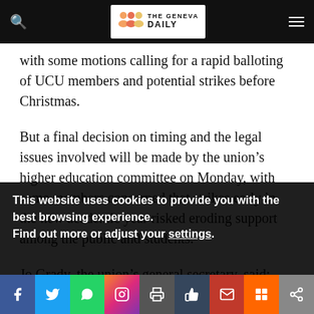THE GENEVA DAILY
with some motions calling for a rapid balloting of UCU members and potential strikes before Christmas.
But a final decision on timing and the legal issues involved will be made by the union's higher education committee on Monday, with some members concerned that strikes early in the new academic year risked eroding support among the public and students.
Jo Grady, the union's general secretary, said: “UCU’s
This website uses cookies to provide you with the best browsing experience.
Find out more or adjust your settings.